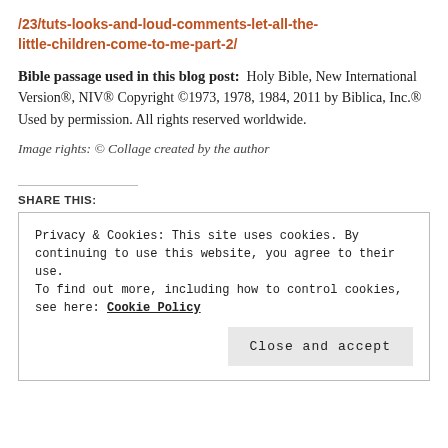/23/tuts-looks-and-loud-comments-let-all-the-little-children-come-to-me-part-2/
Bible passage used in this blog post: Holy Bible, New International Version®, NIV® Copyright ©1973, 1978, 1984, 2011 by Biblica, Inc.® Used by permission. All rights reserved worldwide.
Image rights: © Collage created by the author
SHARE THIS:
Privacy & Cookies: This site uses cookies. By continuing to use this website, you agree to their use. To find out more, including how to control cookies, see here: Cookie Policy
Close and accept